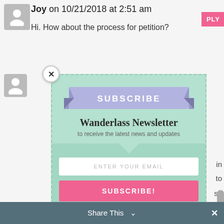Joy on 10/21/2018 at 2:51 am
Hi. How about the process for petition?
[Figure (screenshot): Newsletter subscribe modal popup with ribbon banner reading SUBSCRIBE, title Wanderlass Newsletter, subtitle to receive the latest news and updates, email input field, and pink SUBSCRIBE! button. Has a close X button and dashed border on mint green background.]
SUBSCRIBE
Wanderlass Newsletter
to receive the latest news and updates
ENTER YOUR EMAIL
SUBSCRIBE!
Share This